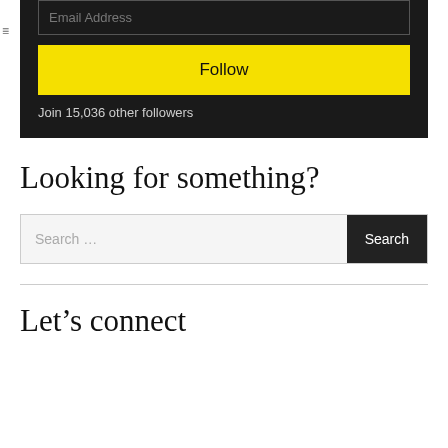[Figure (screenshot): Email subscription widget with dark background, email address input field, yellow Follow button, and follower count text]
Looking for something?
[Figure (screenshot): Search bar with light gray background, placeholder text 'Search …', and dark Search button]
Let’s connect